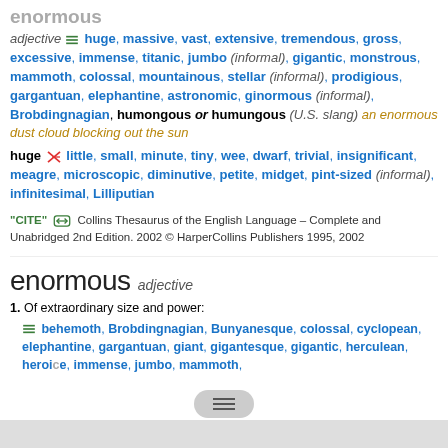enormous
adjective ≡ huge, massive, vast, extensive, tremendous, gross, excessive, immense, titanic, jumbo (informal), gigantic, monstrous, mammoth, colossal, mountainous, stellar (informal), prodigious, gargantuan, elephantine, astronomic, ginormous (informal), Brobdingnagian, humongous or humungous (U.S. slang) an enormous dust cloud blocking out the sun
huge ≠ little, small, minute, tiny, wee, dwarf, trivial, insignificant, meagre, microscopic, diminutive, petite, midget, pint-sized (informal), infinitesimal, Lilliputian
"CITE" ⇔  Collins Thesaurus of the English Language – Complete and Unabridged 2nd Edition. 2002 © HarperCollins Publishers 1995, 2002
enormous  adjective
1. Of extraordinary size and power:
≡ behemoth, Brobdingnagian, Bunyanesque, colossal, cyclopean, elephantine, gargantuan, giant, gigantesque, gigantic, herculean, heroic, huge, immense, jumbo, mammoth,